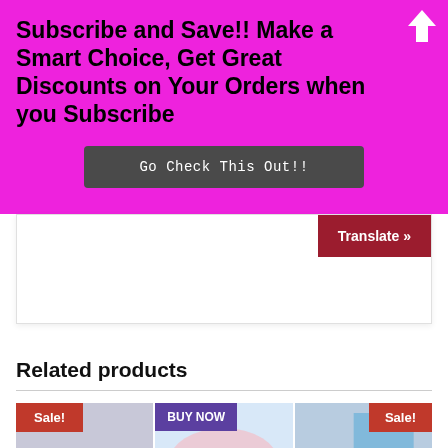Subscribe and Save!! Make a Smart Choice, Get Great Discounts on Your Orders when you Subscribe
Go Check This Out!!
Translate »
Related products
[Figure (other): Product thumbnails row with Sale! and BUY NOW badges over product images]
Sale!
BUY NOW
Sale!